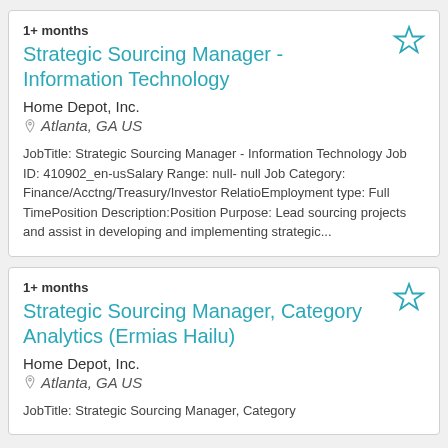1+ months
Strategic Sourcing Manager - Information Technology
Home Depot, Inc.
Atlanta, GA US
JobTitle: Strategic Sourcing Manager - Information Technology Job ID: 410902_en-usSalary Range: null- null Job Category: Finance/Acctng/Treasury/Investor RelatioEmployment type: Full TimePosition Description:Position Purpose: Lead sourcing projects and assist in developing and implementing strategic...
1+ months
Strategic Sourcing Manager, Category Analytics (Ermias Hailu)
Home Depot, Inc.
Atlanta, GA US
JobTitle: Strategic Sourcing Manager, Category